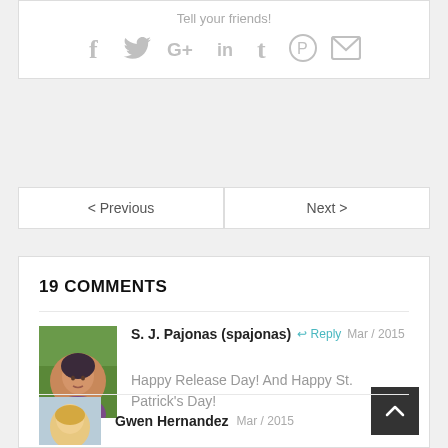Tell your friends!
[Figure (infographic): Social sharing icons: Facebook, Twitter, Google+, LinkedIn, Tumblr, Pinterest, Email — all in light gray]
< Previous
Next >
19 COMMENTS
[Figure (photo): Profile photo of a woman with short dark hair outdoors with green trees in background, wearing a purple top]
S. J. Pajonas (spajonas)
Reply
Mar / 2015
Happy Release Day! And Happy St. Patrick's Day!
[Figure (photo): Profile photo of a woman with blonde hair]
Gwen Hernandez
Mar / 2015